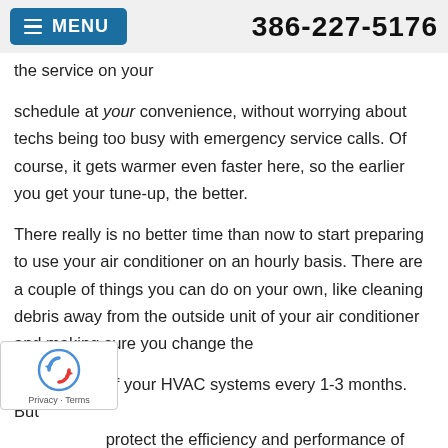MENU   386-227-5176
the service on your schedule at your convenience, without worrying about techs being too busy with emergency service calls. Of course, it gets warmer even faster here, so the earlier you get your tune-up, the better.

There really is no better time than now to start preparing to use your air conditioner on an hourly basis. There are a couple of things you can do on your own, like cleaning debris away from the outside unit of your air conditioner and making sure you change the [filter] of your HVAC systems every 1-3 months. But [to] protect the efficiency and performance of your air conditioner, you'll want to invest in
[Figure (logo): reCAPTCHA badge with circular arrow logo and Privacy - Terms text]